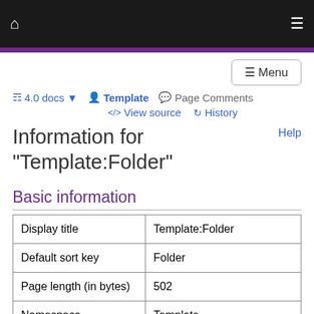Home | Menu
4.0 docs ▾   Template   Page Comments   </> View source   History
Information for "Template:Folder"
Help
Basic information
|  |  |
| --- | --- |
| Display title | Template:Folder |
| Default sort key | Folder |
| Page length (in bytes) | 502 |
| Namespace | Template |